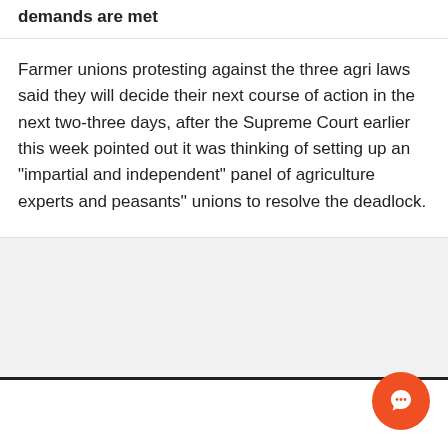demands are met
Farmer unions protesting against the three agri laws said they will decide their next course of action in the next two-three days, after the Supreme Court earlier this week pointed out it was thinking of setting up an "impartial and independent" panel of agriculture experts and peasants'' unions to resolve the deadlock.
Advertisement